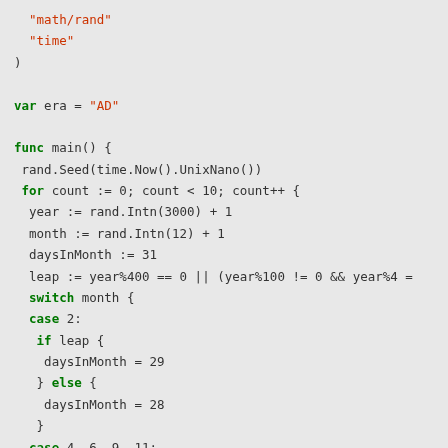[Figure (screenshot): Go programming language source code snippet showing imports, variable declaration, and main function with random date generation logic including leap year calculation and switch statement for days in month.]